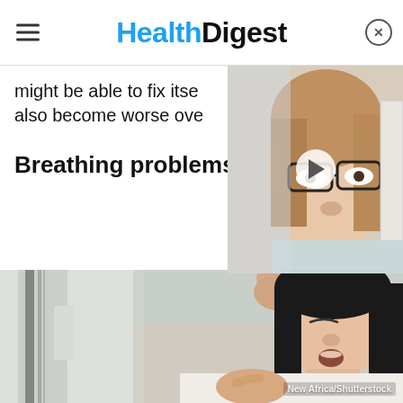Health Digest
might be able to fix itse also become worse ove
Breathing problems
[Figure (photo): Video thumbnail showing a woman wearing glasses squinting to read, with a play button overlay]
[Figure (photo): Woman leaning against a wall with her hand on her forehead, appearing to have difficulty breathing, wearing a white shirt. Credit: New Africa/Shutterstock]